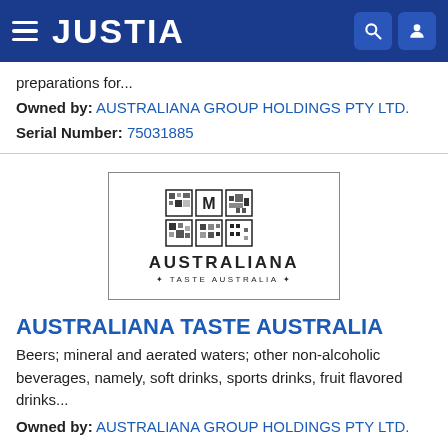JUSTIA
preparations for...
Owned by: AUSTRALIANA GROUP HOLDINGS PTY LTD.
Serial Number: 75031885
[Figure (logo): Australiana Taste Australia logo — a 2x2 grid of decorative squares above the text AUSTRALIANA and subtitle TASTE AUSTRALIA]
AUSTRALIANA TASTE AUSTRALIA
Beers; mineral and aerated waters; other non-alcoholic beverages, namely, soft drinks, sports drinks, fruit flavored drinks...
Owned by: AUSTRALIANA GROUP HOLDINGS PTY LTD.